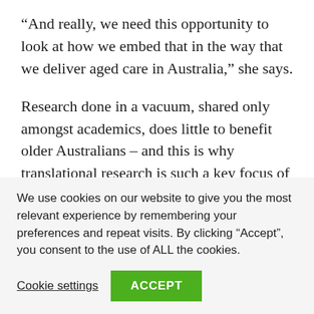“And really, we need this opportunity to look at how we embed that in the way that we deliver aged care in Australia,” she says.
Research done in a vacuum, shared only amongst academics, does little to benefit older Australians – and this is why translational research is such a key focus of the institute.
“When we talk about translational research, we’re talking about the adoption of evidence into practice across aged
We use cookies on our website to give you the most relevant experience by remembering your preferences and repeat visits. By clicking “Accept”, you consent to the use of ALL the cookies.
Cookie settings  ACCEPT